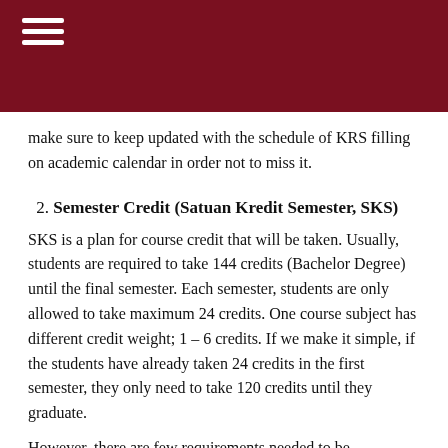make sure to keep updated with the schedule of KRS filling on academic calendar in order not to miss it.
2. Semester Credit (Satuan Kredit Semester, SKS)
SKS is a plan for course credit that will be taken. Usually, students are required to take 144 credits (Bachelor Degree) until the final semester. Each semester, students are only allowed to take maximum 24 credits. One course subject has different credit weight; 1 – 6 credits. If we make it simple, if the students have already taken 24 credits in the first semester, they only need to take 120 credits until they graduate.
However, there are few requirements needed to be